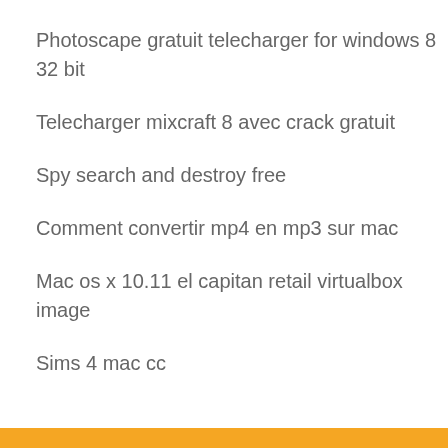Photoscape gratuit telecharger for windows 8 32 bit
Telecharger mixcraft 8 avec crack gratuit
Spy search and destroy free
Comment convertir mp4 en mp3 sur mac
Mac os x 10.11 el capitan retail virtualbox image
Sims 4 mac cc
Comment importer video sur iphone
[Figure (screenshot): Orange search bar with white text 'Search Here' and a small white square icon on the right]
Ulead video studio 8 télécharger
Vpn for windows 10 free
Descargar norton antivirus 2020 gratis para 90 dias
Dragon ball fighter telecharger
Cisco anyconnect mobility client linux
Couper un pdf en plusieurs pdf gratuit
Regarder tf1 en direct gratuit 2020
Les sims 2 au fil des saisons télécharger
Save street fighter v arcade edition pc
God of war 1 pc game gratuit télécharger complete version